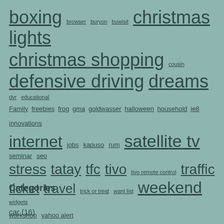boxing browser buryon buwisit christmas lights
christmas shopping cousin
defensive driving dreams dvr educational
Family freebies frog gma goldwasser halloween household ie8 innovations
internet jobs kapuso rum satellite tv seminar seo
stress tatay tfc tivo tivo remote control traffic
ticket travel trick or treat want list weekend widgets
workshop yahoo alert
Categories
car (16)